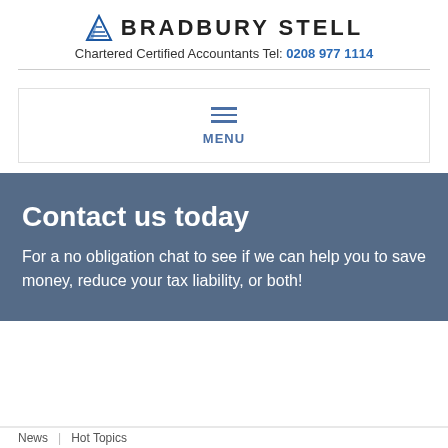BRADBURY STELL – Chartered Certified Accountants Tel: 0208 977 1114
[Figure (other): Hamburger menu icon with three horizontal lines above the text MENU]
Contact us today
For a no obligation chat to see if we can help you to save money, reduce your tax liability, or both!
News | Hot Topics